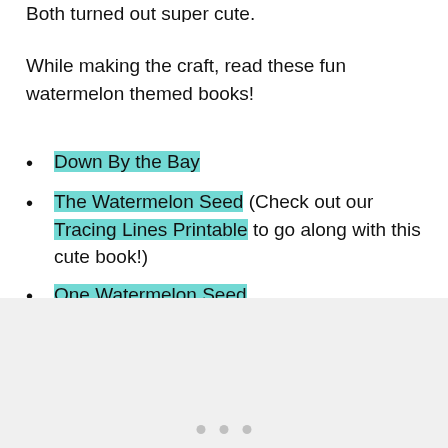Both turned out super cute.
While making the craft, read these fun watermelon themed books!
Down By the Bay
The Watermelon Seed (Check out our Tracing Lines Printable to go along with this cute book!)
One Watermelon Seed